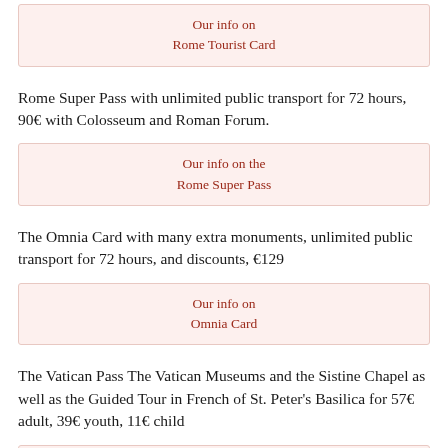Our info on Rome Tourist Card
Rome Super Pass with unlimited public transport for 72 hours, 90€ with Colosseum and Roman Forum.
Our info on the Rome Super Pass
The Omnia Card with many extra monuments, unlimited public transport for 72 hours, and discounts, €129
Our info on Omnia Card
The Vatican Pass The Vatican Museums and the Sistine Chapel as well as the Guided Tour in French of St. Peter's Basilica for 57€ adult, 39€ youth, 11€ child
Our info on the Vatican Pass
If you don't want to visit the Vatican :